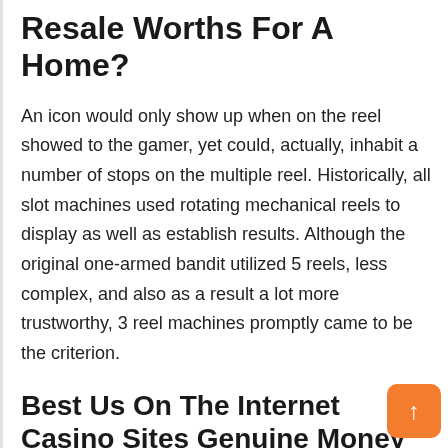Resale Worths For A Home?
An icon would only show up when on the reel showed to the gamer, yet could, actually, inhabit a number of stops on the multiple reel. Historically, all slot machines used rotating mechanical reels to display as well as establish results. Although the original one-armed bandit utilized 5 reels, less complex, and also as a result a lot more trustworthy, 3 reel machines promptly came to be the criterion.
Best Us On The Internet Casino Sites Genuine Money Slots 2022
This brings us to the vivid and manifold world of online betting. As we mentioned earlier, gaming has